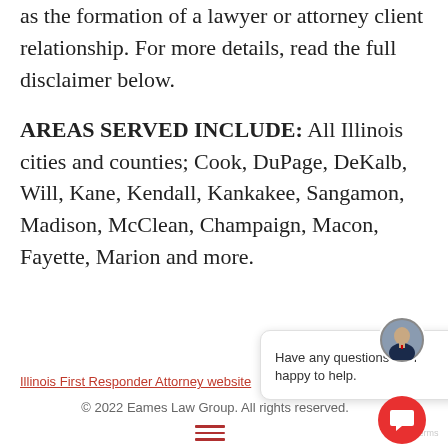as the formation of a lawyer or attorney client relationship. For more details, read the full disclaimer below.
AREAS SERVED INCLUDE: All Illinois cities and counties; Cook, DuPage, DeKalb, Will, Kane, Kendall, Kankakee, Sangamon, Madison, McClean, Champaign, Macon, Fayette, Marion and more.
[Figure (screenshot): Chat bubble popup with avatar photo of a man in suit and text 'Have any questions? I'm happy to help.' with close button]
Illinois First Responder Attorney website
© 2022 Eames Law Group. All rights reserved.